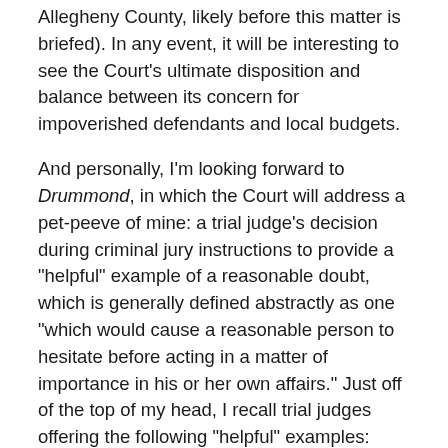Allegheny County, likely before this matter is briefed).  In any event, it will be interesting to see the Court's ultimate disposition and balance between its concern for impoverished defendants and local budgets.
And personally, I'm looking forward to Drummond, in which the Court will address a pet-peeve of mine: a trial judge's decision during criminal jury instructions to provide a "helpful" example of a reasonable doubt, which is generally defined abstractly as one "which would cause a reasonable person to hesitate before acting in a matter of importance in his or her own affairs."  Just off of the top of my head, I recall trial judges offering the following "helpful" examples:
choosing to continue on your commute after fearing having left a door unlocked;